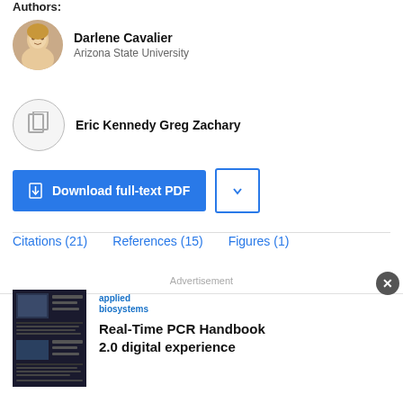Authors:
Darlene Cavalier
Arizona State University
Eric Kennedy Greg Zachary
Download full-text PDF
Citations (21)    References (15)    Figures (1)
Advertisement
[Figure (other): Applied Biosystems logo and thumbnail of PCR handbook document]
Real-Time PCR Handbook
2.0 digital experience